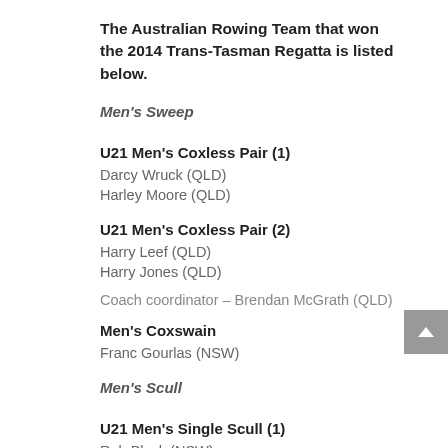The Australian Rowing Team that won the 2014 Trans-Tasman Regatta is listed below.
Men's Sweep
U21 Men's Coxless Pair (1)
Darcy Wruck (QLD)
Harley Moore (QLD)
U21 Men's Coxless Pair (2)
Harry Leef (QLD)
Harry Jones (QLD)
Coach coordinator – Brendan McGrath (QLD)
Men's Coxswain
Franc Gourlas (NSW)
Men's Scull
U21 Men's Single Scull (1)
Rob Black (NSW)